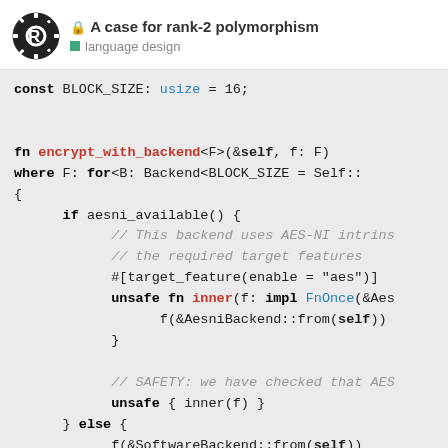A case for rank-2 polymorphism | language design
[Figure (screenshot): Rust programming language logo — gear with letter R]
const BLOCK_SIZE: usize = 16;

fn encrypt_with_backend<F>(&self, f: F)
where F: for<B: Backend<BLOCK_SIZE = Self::
{
    if aesni_available() {
        // This backend uses AES-NI intrins
        // the required target features
        #[target_feature(enable = "aes")]
        unsafe fn inner(f: impl FnOnce(&Aes
            f(&AesniBackend::from(self))
        }

        // SAFETY: we have checked that AES
        unsafe { inner(f) }
    } else {
        f(&SoftwareBackend::from(self))
    }
}